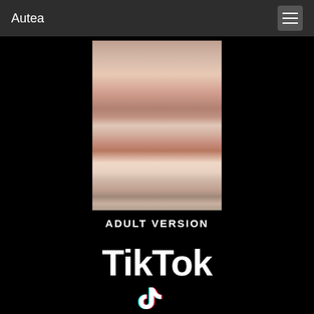Autea
[Figure (photo): Adult content photo — person in red bra and black clothing]
ADULT VERSION
TikTok
[Figure (logo): TikTok musical note logo in teal and pink]